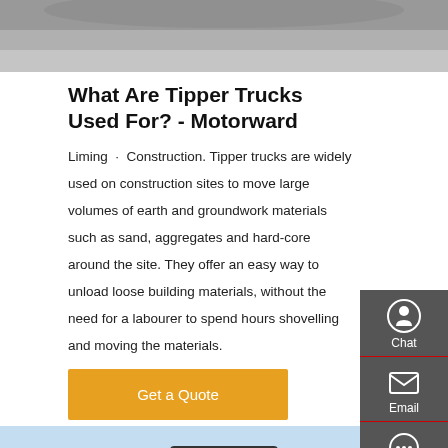[Figure (photo): Top portion of a tipper truck, gray tones, partial view from above]
What Are Tipper Trucks Used For? - Motorward
Liming · Construction. Tipper trucks are widely used on construction sites to move large volumes of earth and groundwork materials such as sand, aggregates and hard-core around the site. They offer an easy way to unload loose building materials, without the need for a labourer to spend hours shovelling and moving the materials.
Get a Quote
[Figure (photo): Front view of a tipper/dump truck with red Chinese text on the windshield, light blue sky background, debris visible on left side]